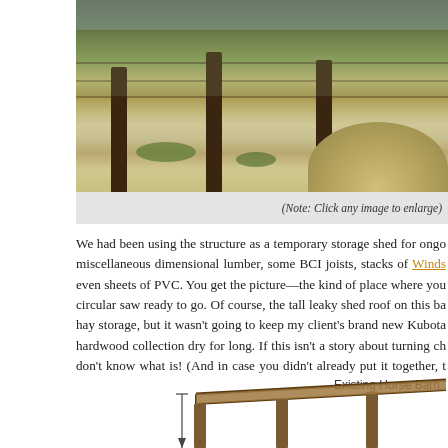[Figure (photo): Photograph of fence posts with wire fencing, gravel pile, and vegetation in background at a construction or farm site]
(Note: Click any image to enlarge)
We had been using the structure as a temporary storage shed for ongoing miscellaneous dimensional lumber, some BCI joists, stacks of Windsor [link], even sheets of PVC. You get the picture—the kind of place where you keep a circular saw ready to go. Of course, the tall leaky shed roof on this barn was great for hay storage, but it wasn't going to keep my client's brand new Kubota and his hardwood collection dry for long. If this isn't a story about turning challenges... don't know what is! (And in case you didn't already put it together, the client is Katz!)
[Figure (engineering-diagram): Architectural/structural diagram of existing horse barn showing roof line and posts with 'Existing Horse Barn' label]